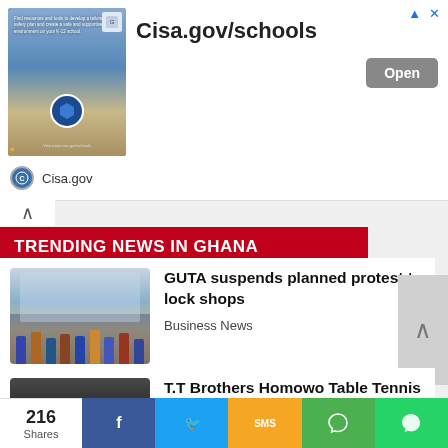[Figure (screenshot): CISA.gov/schools advertisement banner with shield logo, school safety text, and blue imagery]
Cisa.gov/schools
Open
Cisa.gov
TRENDING NEWS IN GHANA
[Figure (photo): Group of people in front of a building - GUTA protest news thumbnail]
GUTA suspends planned protest to lock shops
Business News
[Figure (photo): Table tennis players in yellow jerseys at a table tennis table]
T.T Brothers Homowo Table Tennis Championship slated for Aug 27
Sports News
[Figure (photo): Headshot of a person - Oyerepa FM news thumbnail]
Oyerepa FM asked to
216 Shares
f
SMS
WhatsApp